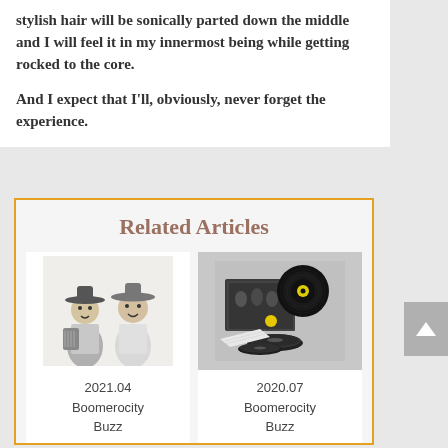stylish hair will be sonically parted down the middle and I will feel it in my innermost being while getting rocked to the core.
And I expect that I'll, obviously, never forget the experience.
Related Articles
[Figure (photo): Black and white photo of two men in cowboy hats, one holding an accordion]
2021.04
Boomerocity
Buzz
[Figure (photo): Photo of vinyl record box set with multiple CDs and records spread out]
2020.07
Boomerocity
Buzz